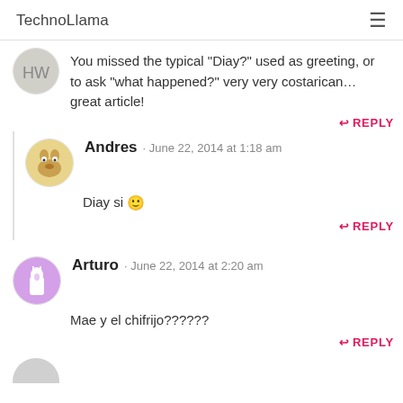TechnoLlama
You missed the typical "Diay?" used as greeting, or to ask "what happened?" very very costarican… great article!
↩ REPLY
Andres · June 22, 2014 at 1:18 am
Diay si 🙂
↩ REPLY
Arturo · June 22, 2014 at 2:20 am
Mae y el chifrijo??????
↩ REPLY